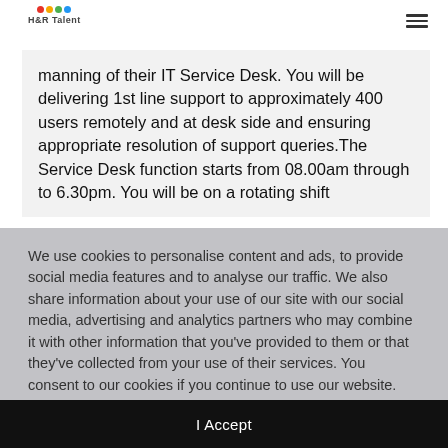H&R Talent
manning of their IT Service Desk. You will be delivering 1st line support to approximately 400 users remotely and at desk side and ensuring appropriate resolution of support queries.The Service Desk function starts from 08.00am through to 6.30pm. You will be on a rotating shift
We use cookies to personalise content and ads, to provide social media features and to analyse our traffic. We also share information about your use of our site with our social media, advertising and analytics partners who may combine it with other information that you've provided to them or that they've collected from your use of their services. You consent to our cookies if you continue to use our website. More
I Accept